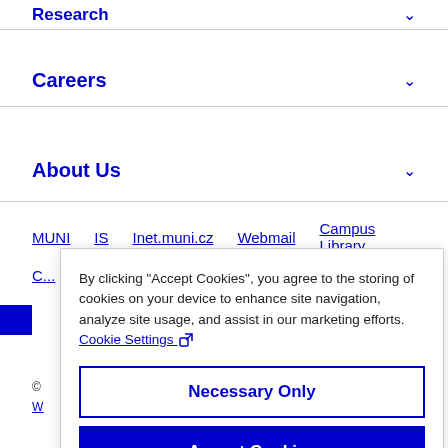Research
Careers
About Us
MUNI   IS   Inet.muni.cz   Webmail   Campus Library
By clicking “Accept Cookies”, you agree to the storing of cookies on your device to enhance site navigation, analyze site usage, and assist in our marketing efforts. Cookie Settings
Necessary Only
Accept Cookies